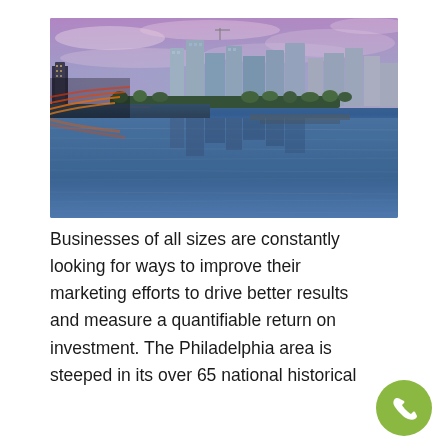[Figure (photo): Aerial/elevated cityscape photo of Philadelphia skyline at dusk/twilight, with purple-pink sky, illuminated skyscrapers reflected in a river below, and colorful traffic light trails on a highway to the left.]
Businesses of all sizes are constantly looking for ways to improve their marketing efforts to drive better results and measure a quantifiable return on investment. The Philadelphia area is steeped in its over 65 national historical